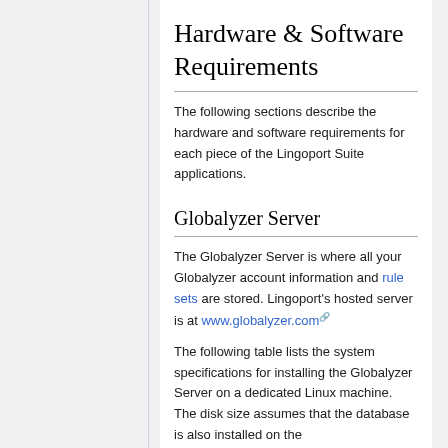Hardware & Software Requirements
The following sections describe the hardware and software requirements for each piece of the Lingoport Suite applications.
Globalyzer Server
The Globalyzer Server is where all your Globalyzer account information and rule sets are stored. Lingoport's hosted server is at www.globalyzer.com
The following table lists the system specifications for installing the Globalyzer Server on a dedicated Linux machine. The disk size assumes that the database is also installed on the